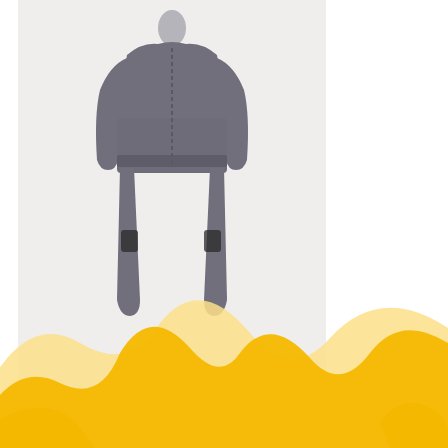[Figure (photo): Gray full-body jumpsuit/coverall with black knee patches, displayed on a mannequin against a light beige background. The suit has long sleeves and long pants.]
DeathWatch Suit
$499.90
[Figure (illustration): Decorative wave pattern at the bottom of the page with golden yellow and light yellow overlapping mountain/hill shapes.]